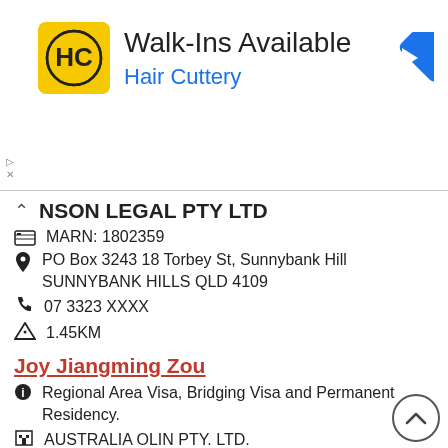[Figure (logo): Hair Cuttery advertisement banner with HC logo, Walk-Ins Available text, and blue navigation arrow icon]
NSON LEGAL PTY LTD
MARN: 1802359
PO Box 3243 18 Torbey St, Sunnybank Hill SUNNYBANK HILLS QLD 4109
07 3323 XXXX
1.45KM
Joy Jiangming Zou
Regional Area Visa, Bridging Visa and Permanent Residency.
AUSTRALIA OLIN PTY. LTD.
MARN: 208215
Unit 56, Pacific Centre 223 Calam Road, SUNNYBANK HILLS QLD 4109
07 3276 XXXX